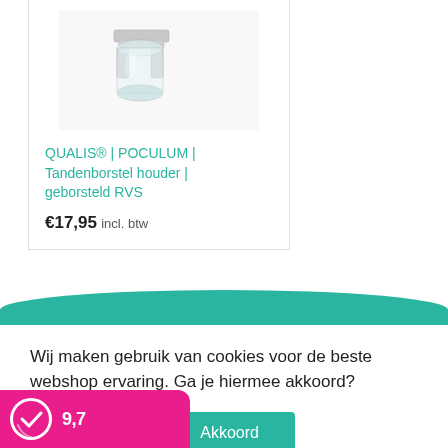[Figure (photo): Product photo of QUALIS POCULUM toothbrush holder in brushed stainless steel, partially visible at top of product card]
QUALIS® | POCULUM | Tandenborstel houder | geborsteld RVS
€17,95 incl. btw
Wij maken gebruik van cookies voor de beste webshop ervaring. Ga je hiermee akkoord?
Meer informatie
Akkoord
9,7